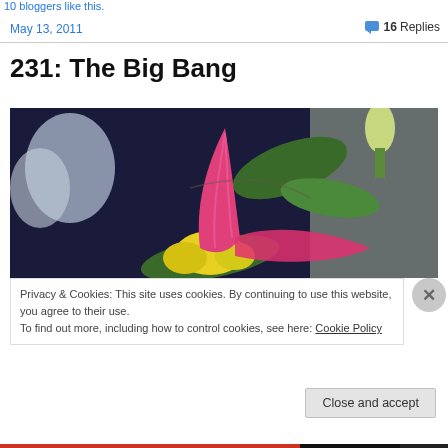10 bloggers like this.
May 13, 2011
16 Replies
231: The Big Bang
[Figure (photo): Close-up photo of a pink and yellow flower bud with green leaves and purple flowers in the background]
Privacy & Cookies: This site uses cookies. By continuing to use this website, you agree to their use.
To find out more, including how to control cookies, see here: Cookie Policy
Close and accept